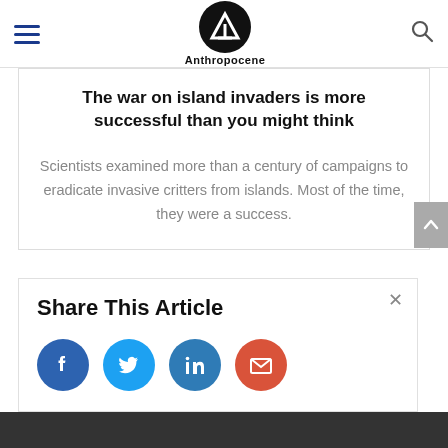Anthropocene
The war on island invaders is more successful than you might think
Scientists examined more than a century of campaigns to eradicate invasive critters from islands. Most of the time, they were a success.
Share This Article
[Figure (infographic): Social sharing buttons: Facebook (blue circle with f icon), Twitter (light blue circle with bird icon), LinkedIn (blue circle with in icon), Email (red circle with envelope icon)]